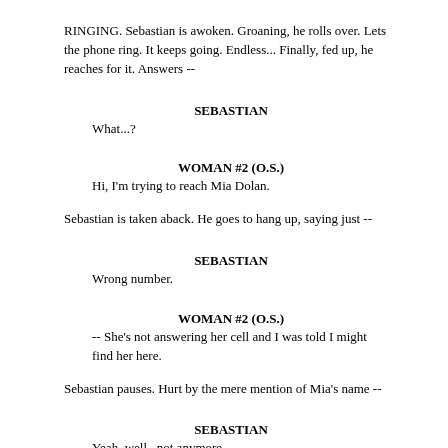RINGING. Sebastian is awoken. Groaning, he rolls over. Lets the phone ring. It keeps going. Endless... Finally, fed up, he reaches for it. Answers --
SEBASTIAN
What...?
WOMAN #2 (O.S.)
Hi, I'm trying to reach Mia Dolan.
Sebastian is taken aback. He goes to hang up, saying just --
SEBASTIAN
Wrong number.
WOMAN #2 (O.S.)
-- She's not answering her cell and I was told I might find her here.
Sebastian pauses. Hurt by the mere mention of Mia's name --
SEBASTIAN
Yeah, well...not anymore.
WOMAN #2 (O.S.)
Ok. If you do talk to her --
SEBASTIAN
I won't.